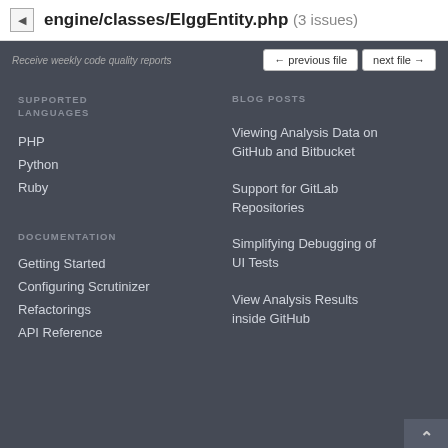engine/classes/ElggEntity.php (3 issues)
Receive weekly code quality reports
← previous file   next file →
SUPPORTED LANGUAGES
BLOG POSTS
PHP
Python
Ruby
Viewing Analysis Data on GitHub and Bitbucket
Support for GitLab Repositories
Simplifying Debugging of UI Tests
View Analysis Results inside GitHub
DOCUMENTATION
Getting Started
Configuring Scrutinizer
Refactorings
API Reference